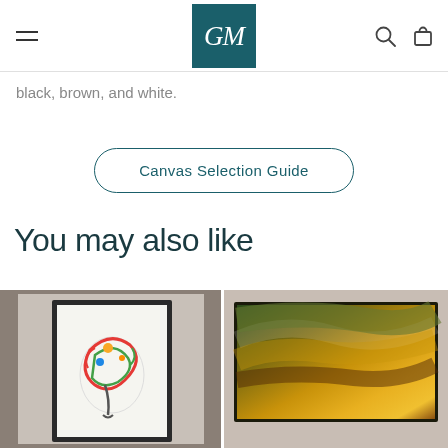GM logo navigation header with hamburger menu, search icon, and bag icon
black, brown, and white.
Canvas Selection Guide
You may also like
[Figure (photo): Framed artwork on wall showing a colorful abstract light bulb splash painting with red, green, blue, yellow paint strokes on white background]
[Figure (photo): Abstract landscape canvas print with dramatic golden yellow and brown swirling clouds or storm colors]